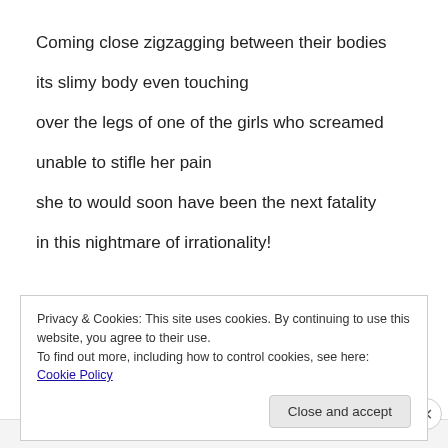Coming close zigzagging between their bodies
its slimy body even touching
over the legs of one of the girls who screamed
unable to stifle her pain
she to would soon have been the next fatality
in this nightmare of irrationality!
Privacy & Cookies: This site uses cookies. By continuing to use this website, you agree to their use.
To find out more, including how to control cookies, see here: Cookie Policy
Close and accept
Advertisements